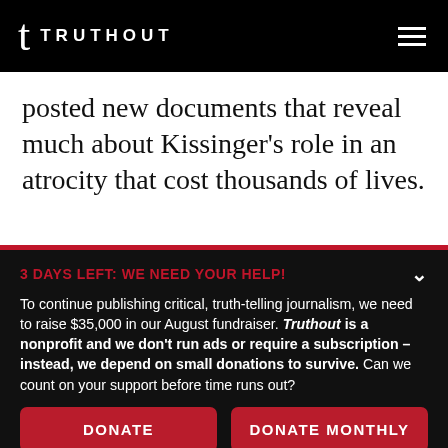t TRUTHOUT
posted new documents that reveal much about Kissinger's role in an atrocity that cost thousands of lives.
3 DAYS LEFT: WE NEED YOUR HELP!
To continue publishing critical, truth-telling journalism, we need to raise $35,000 in our August fundraiser. Truthout is a nonprofit and we don't run ads or require a subscription – instead, we depend on small donations to survive. Can we count on your support before time runs out?
DONATE
DONATE MONTHLY